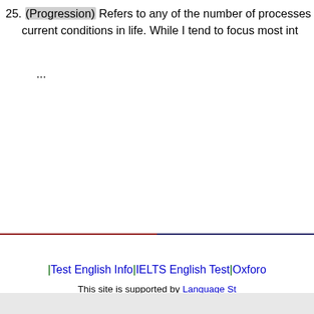25. (Progression) Refers to any of the number of processes current conditions in life. While I tend to focus most in...
...
|Test English Info|IELTS English Test|Oxfor...
This site is supported by Language St...